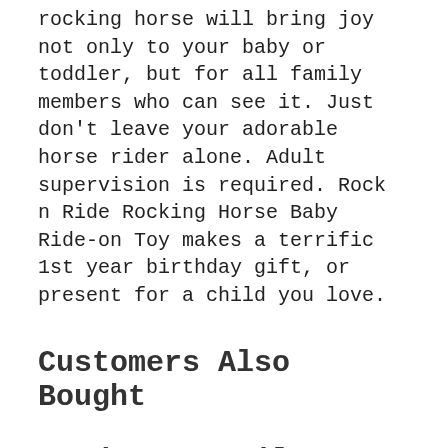rocking horse will bring joy not only to your baby or toddler, but for all family members who can see it. Just don't leave your adorable horse rider alone. Adult supervision is required. Rock n Ride Rocking Horse Baby Ride-on Toy makes a terrific 1st year birthday gift, or present for a child you love.
Customers Also Bought
Product Details
| SKU | w-hp-e0100 |